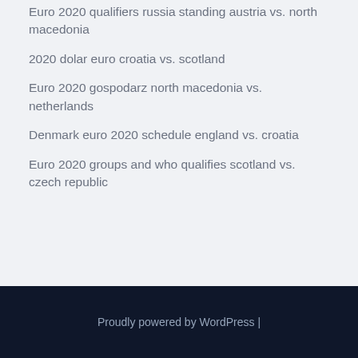Euro 2020 qualifiers russia standing austria vs. north macedonia
2020 dolar euro croatia vs. scotland
Euro 2020 gospodarz north macedonia vs. netherlands
Denmark euro 2020 schedule england vs. croatia
Euro 2020 groups and who qualifies scotland vs. czech republic
Proudly powered by WordPress |